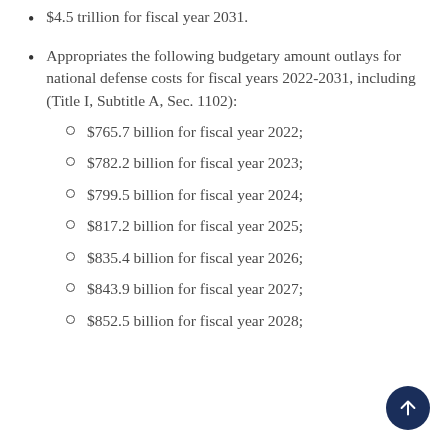$4.5 trillion for fiscal year 2031.
Appropriates the following budgetary amount outlays for national defense costs for fiscal years 2022-2031, including (Title I, Subtitle A, Sec. 1102):
$765.7 billion for fiscal year 2022;
$782.2 billion for fiscal year 2023;
$799.5 billion for fiscal year 2024;
$817.2 billion for fiscal year 2025;
$835.4 billion for fiscal year 2026;
$843.9 billion for fiscal year 2027;
$852.5 billion for fiscal year 2028;